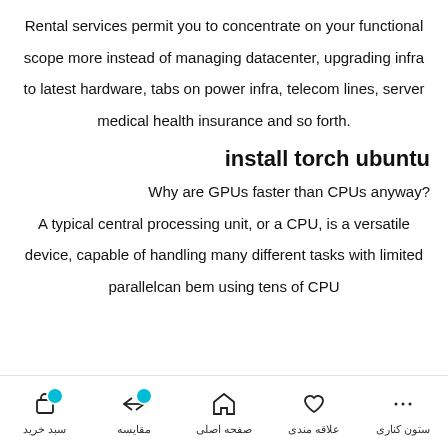Rental services permit you to concentrate on your functional scope more instead of managing datacenter, upgrading infra to latest hardware, tabs on power infra, telecom lines, server medical health insurance and so forth.
install torch ubuntu
Why are GPUs faster than CPUs anyway?
A typical central processing unit, or a CPU, is a versatile device, capable of handling many different tasks with limited parallelcan bem using tens of CPU
سبد خرید | مقایسه | صفحه اصلی | علاقه مندی | ستون کناری